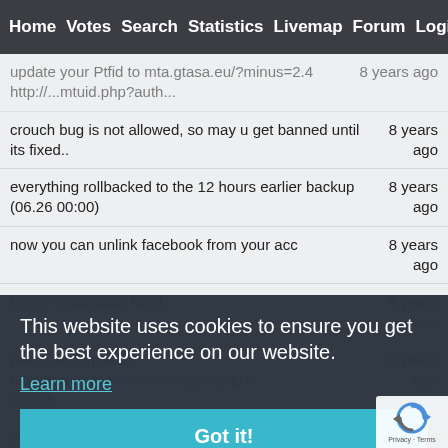Home | Votes | Search | Statistics | Livemap | Forum | Login
update your Ptfid to mta.gtasa.eu/?minus=2.4...
crouch bug is not allowed, so may u get banned until its fixed.. — 8 years ago
everything rollbacked to the 12 hours earlier backup (06.26 00:00) — 8 years ago
now you can unlink facebook from your acc — 8 years ago
forum registration fixed... — 8 years ago
new chat functions: http://forum.gtasa.eu/viewtopic.php?id=375 — 8 years ago
all invalid email address removed — 8 years ago
we moved to OVH, new ip is: 92.222.20.128 or mta.gtasa.eu — 8 years ago
This website uses cookies to ensure you get the best experience on our website. Learn more
Got it!